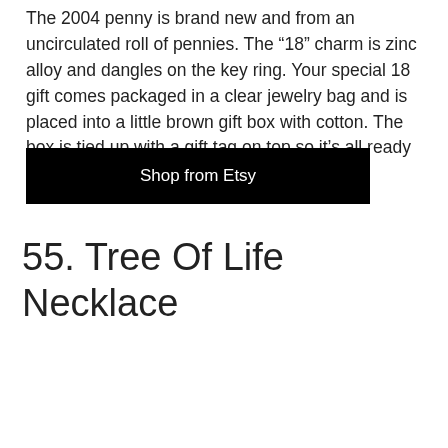The 2004 penny is brand new and from an uncirculated roll of pennies. The ‘18’ charm is zinc alloy and dangles on the key ring. Your special 18 gift comes packaged in a clear jewelry bag and is placed into a little brown gift box with cotton. The box is tied up with a gift tag on top so it’s all ready for gifting or wrapped up special just for you.
Shop from Etsy
55. Tree Of Life Necklace